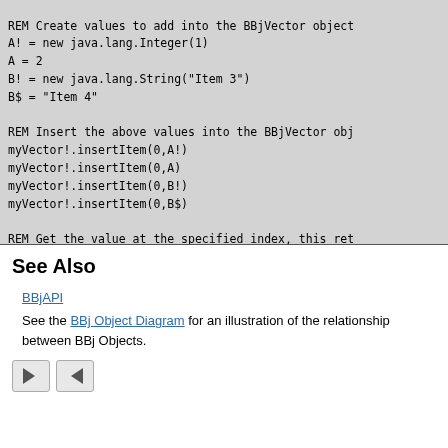REM Create values to add into the BBjVector object
A! = new java.lang.Integer(1)
A = 2
B! = new java.lang.String("Item 3")
B$ = "Item 4"

REM Insert the above values into the BBjVector obj
myVector!.insertItem(0,A!)
myVector!.insertItem(0,A)
myVector!.insertItem(0,B!)
myVector!.insertItem(0,B$)

REM Get the value at the specified index, this ret
ITEM1!=myVector!.getItem(3)

RELEASE
See Also
BBjAPI
See the BBj Object Diagram for an illustration of the relationship between BBj Objects.